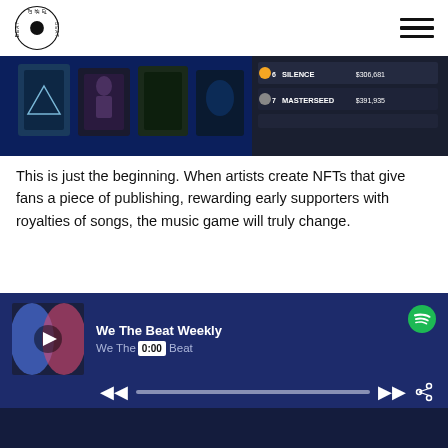The Beat [logo + hamburger menu]
[Figure (screenshot): Dark-themed music NFT marketplace screenshot showing album artwork tiles and a leaderboard listing SILENCE at $306,681 and MASTERSEED at $391,935]
This is just the beginning. When artists create NFTs that give fans a piece of publishing, rewarding early supporters with royalties of songs, the music game will truly change.
- Written by Kirk Reed
March 5, 2021
[Figure (screenshot): Spotify embedded player showing 'We The Beat Weekly' podcast by We The Beat, with playback controls and 0:00 timestamp]